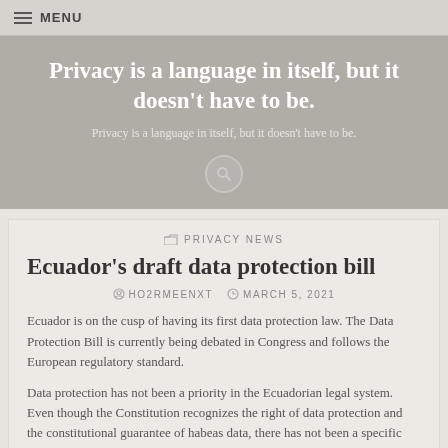MENU
Privacy is a language in itself, but it doesn't have to be.
Privacy is a language in itself, but it doesn't have to be.
PRIVACY NEWS
Ecuador's draft data protection bill
HO2RMEENXT   MARCH 5, 2021
Ecuador is on the cusp of having its first data protection law. The Data Protection Bill is currently being debated in Congress and follows the European regulatory standard.
Data protection has not been a priority in the Ecuadorian legal system. Even though the Constitution recognizes the right of data protection and the constitutional guarantee of habeas data, there has not been a specific law created.